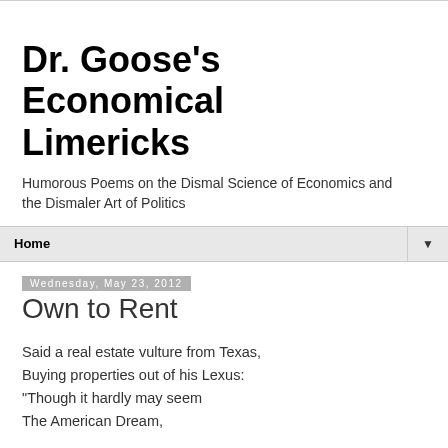Dr. Goose's Economical Limericks
Humorous Poems on the Dismal Science of Economics and the Dismaler Art of Politics
Home
Wednesday, May 23, 2012
Own to Rent
Said a real estate vulture from Texas,
Buying properties out of his Lexus:
"Though it hardly may seem
The American Dream,